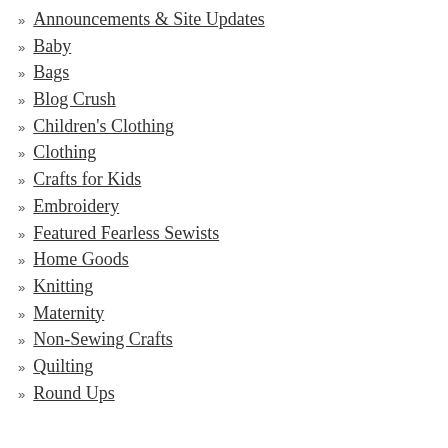Announcements & Site Updates
Baby
Bags
Blog Crush
Children's Clothing
Clothing
Crafts for Kids
Embroidery
Featured Fearless Sewists
Home Goods
Knitting
Maternity
Non-Sewing Crafts
Quilting
Round Ups